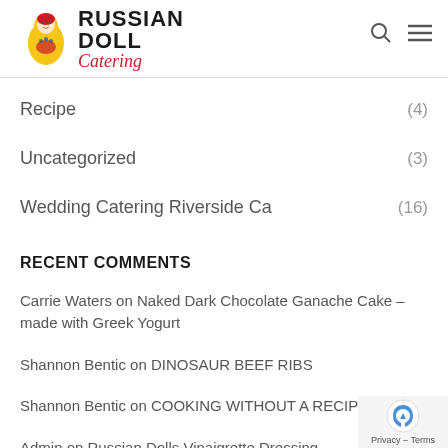Russian Doll Catering
Recipe (4)
Uncategorized (3)
Wedding Catering Riverside Ca (16)
RECENT COMMENTS
Carrie Waters on Naked Dark Chocolate Ganache Cake – made with Greek Yogurt
Shannon Bentic on DINOSAUR BEEF RIBS
Shannon Bentic on COOKING WITHOUT A RECIPE
Admin on Russian Dolls Vinaigrette Dressing